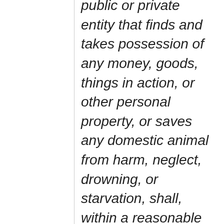public or private entity that finds and takes possession of any money, goods, things in action, or other personal property, or saves any domestic animal from harm, neglect, drowning, or starvation, shall, within a reasonable time, inform the